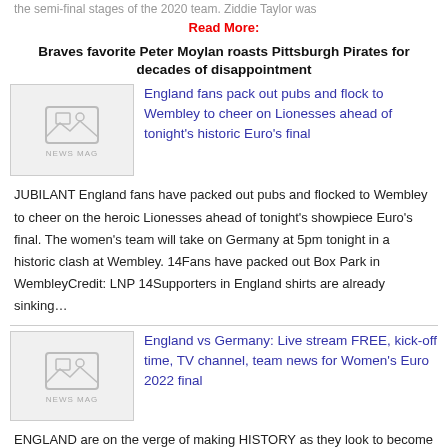the semi-final stages of the 2020 team. Ziddie Taylor was
Read More:
Braves favorite Peter Moylan roasts Pittsburgh Pirates for decades of disappointment
[Figure (photo): News Mag placeholder thumbnail image]
England fans pack out pubs and flock to Wembley to cheer on Lionesses ahead of tonight's historic Euro's final
JUBILANT England fans have packed out pubs and flocked to Wembley to cheer on the heroic Lionesses ahead of tonight's showpiece Euro's final. The women's team will take on Germany at 5pm tonight in a historic clash at Wembley. 14Fans have packed out Box Park in WembleyCredit: LNP 14Supporters in England shirts are already sinking…
[Figure (photo): News Mag placeholder thumbnail image]
England vs Germany: Live stream FREE, kick-off time, TV channel, team news for Women's Euro 2022 final
ENGLAND are on the verge of making HISTORY as they look to become the country's first team ever to win a European Championship – but face old enemies Germany in the final. The